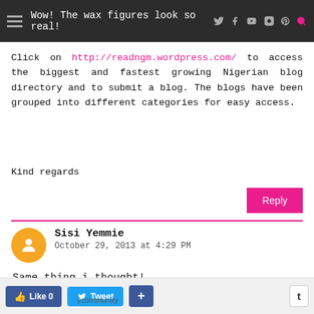Wow! The wax figures look so real!
Click on http://readngm.wordpress.com/ to access the biggest and fastest growing Nigerian blog directory and to submit a blog. The blogs have been grouped into different categories for easy access.
Kind regards
Reply
Sisi Yemmie
October 29, 2013 at 4:29 PM
Same thing i thought!